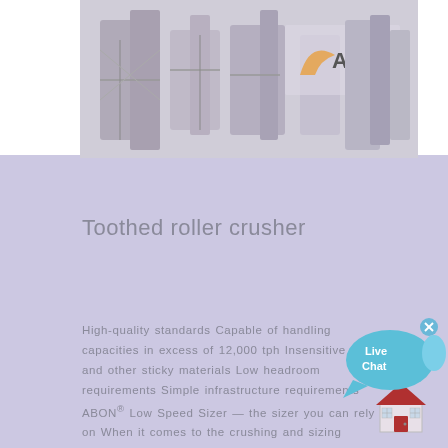[Figure (photo): Industrial toothed roller crusher machinery with AMC logo visible in upper right corner, metallic industrial equipment on a scaffold structure]
Toothed roller crusher
High-quality standards Capable of handling capacities in excess of 12,000 tph Insensitive to and other sticky materials Low headroom requirements Simple infrastructure requirements ABON® Low Speed Sizer — the sizer you can rely on When it comes to the crushing and sizing material for your mining operation, you need equipment that you know you can rely on, and ...
[Figure (illustration): Live Chat speech bubble icon in cyan/blue color with 'Live Chat' text]
[Figure (illustration): House/home icon in red and dark colors at bottom right of page]